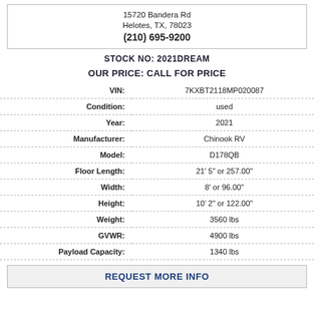15720 Bandera Rd
Helotes, TX, 78023
(210) 695-9200
STOCK NO: 2021DREAM
OUR PRICE: CALL FOR PRICE
| Field | Value |
| --- | --- |
| VIN: | 7KXBT2118MP020087 |
| Condition: | used |
| Year: | 2021 |
| Manufacturer: | Chinook RV |
| Model: | D178QB |
| Floor Length: | 21' 5" or 257.00" |
| Width: | 8' or 96.00" |
| Height: | 10' 2" or 122.00" |
| Weight: | 3560 lbs |
| GVWR: | 4900 lbs |
| Payload Capacity: | 1340 lbs |
REQUEST MORE INFO